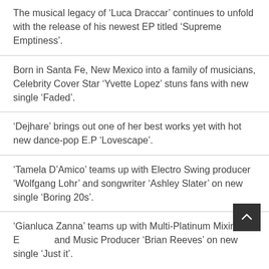The musical legacy of ‘Luca Draccar’ continues to unfold with the release of his newest EP titled ‘Supreme Emptiness’.
Born in Santa Fe, New Mexico into a family of musicians, Celebrity Cover Star ‘Yvette Lopez’ stuns fans with new single ‘Faded’.
‘Dejhare’ brings out one of her best works yet with hot new dance-pop E.P ‘Lovescape’.
‘Tamela D’Amico’ teams up with Electro Swing producer ‘Wolfgang Lohr’ and songwriter ‘Ashley Slater’ on new single ‘Boring 20s’.
‘Gianluca Zanna’ teams up with Multi-Platinum Mixing Engineer and Music Producer ‘Brian Reeves’ on new single ‘Just it’.